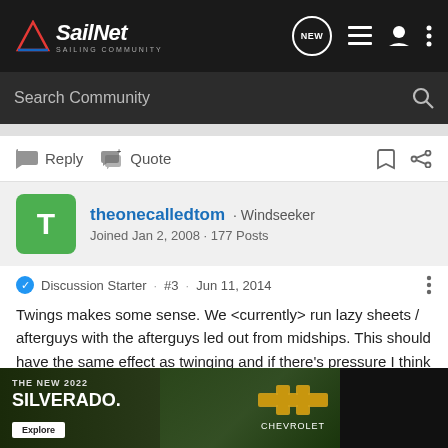[Figure (screenshot): SailNet Sailing Community navigation bar with logo, search, and icons]
Reply   Quote
theonecalledtom · Windseeker
Joined Jan 2, 2008 · 177 Posts
Discussion Starter · #3 · Jun 11, 2014
Twings makes some sense. We <currently> run lazy sheets / afterguys with the afterguys led out from midships. This should have the same effect as twinging and if there's pressure I think it does. The problems arise when there is little pressure to push the pole forwards. Having said that we don't sail in strong winds often, th... just haven't
[Figure (photo): Chevrolet advertisement for The New 2022 Silverado truck with Explore button and Chevrolet logo]